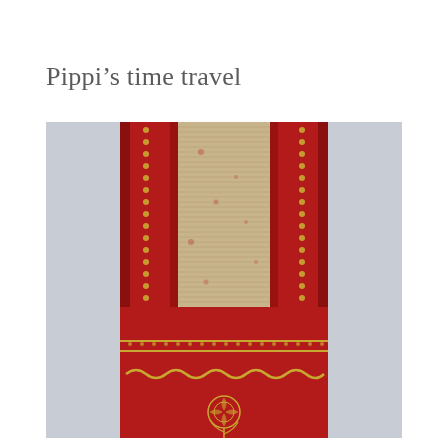Pippi’s time travel
[Figure (photo): Close-up photograph of a red leather-bound book viewed from the top/spine, showing gilded gold dot decorative border trim and the book's aged, yellowed and speckled pages fanned open at the top. The lower portion of the spine shows gold decorative elements including a wave/scroll pattern band and a rose emblem.]